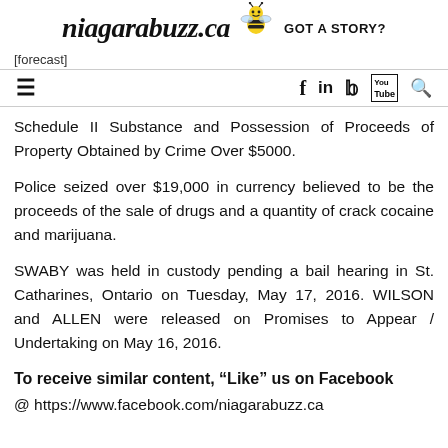[Figure (logo): niagarabuzz.ca logo with bee graphic and 'GOT A STORY?' text]
[forecast]
[Figure (infographic): Navigation bar with hamburger menu icon and social icons: Facebook (f), LinkedIn (in), Twitter, YouTube, Search]
Schedule II Substance and Possession of Proceeds of Property Obtained by Crime Over $5000.
Police seized over $19,000 in currency believed to be the proceeds of the sale of drugs and a quantity of crack cocaine and marijuana.
SWABY was held in custody pending a bail hearing in St. Catharines, Ontario on Tuesday, May 17, 2016. WILSON and ALLEN were released on Promises to Appear / Undertaking on May 16, 2016.
To receive similar content, “Like” us on Facebook @ https://www.facebook.com/niagarabuzz.ca